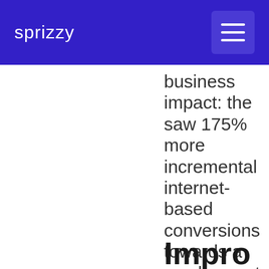sprizzy
business impact: the saw 175% more incremental internet-based conversions towards a smaller cost per-conversion as well as boostedtu per pay (R use 51%.
Impro